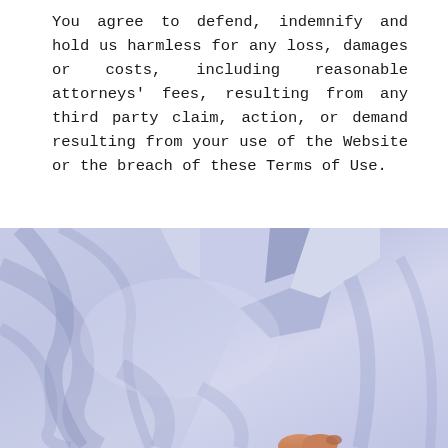You agree to defend, indemnify and hold us harmless for any loss, damages or costs, including reasonable attorneys' fees, resulting from any third party claim, action, or demand resulting from your use of the Website or the breach of these Terms of Use.
[Figure (photo): Close-up photograph of light lavender/periwinkle fabric (appears to be a lab coat or jacket) being held or adjusted, with a blue background visible in the upper right corner. A hand with painted nails is partially visible at the bottom.]